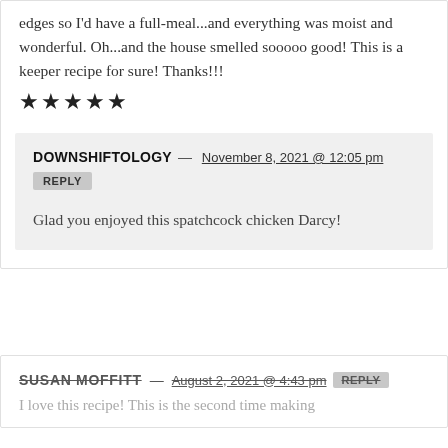edges so I'd have a full-meal...and everything was moist and wonderful. Oh...and the house smelled sooooo good! This is a keeper recipe for sure! Thanks!!!
[Figure (other): Five filled black stars (5-star rating)]
DOWNSHIFTOLOGY — November 8, 2021 @ 12:05 pm REPLY
Glad you enjoyed this spatchcock chicken Darcy!
SUSAN MOFFITT — August 2, 2021 @ 4:43 pm REPLY
I love this recipe! This is the second time making